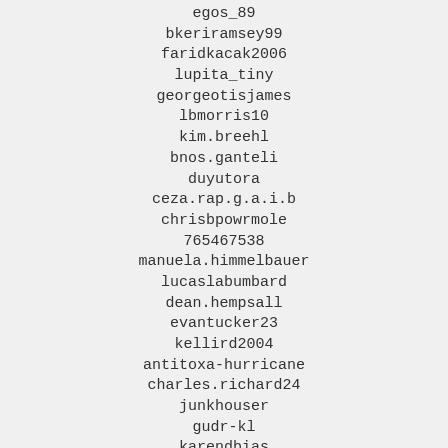egos_89
bkeriramsey99
faridkacak2006
lupita_tiny
georgeotisjames
lbmorris10
kim.breehl
bnos.ganteli
duyutora
ceza.rap.g.a.i.b
chrisbpowrmole
765467538
manuela.himmelbauer
lucaslabumbard
dean.hempsall
evantucker23
kellird2004
antitoxa-hurricane
charles.richard24
junkhouser
gudr-kl
karendbias
arroyito_culturadeclub
elena-avtaeva